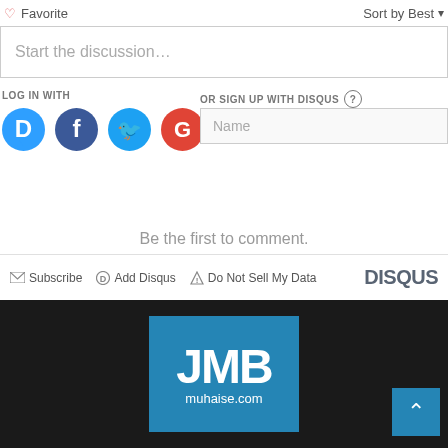Favorite
Sort by Best
Start the discussion…
LOG IN WITH
OR SIGN UP WITH DISQUS
Name
Be the first to comment.
Subscribe  Add Disqus  Do Not Sell My Data
DISQUS
[Figure (logo): JMB muhaise.com logo on blue background]